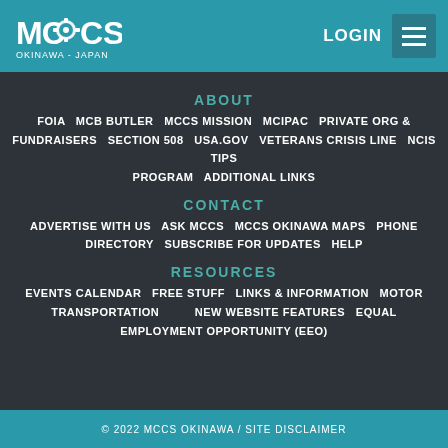MCCS OKINAWA - JAPAN | LOGIN | Menu
ABOUT
FOIA  MCB BUTLER  MCCS MISSION  MCIPAC  PRIVATE ORG & FUNDRAISERS  SECTION 508  USA.GOV  VETERANS CRISIS LINE  NCIS TIPS PROGRAM  ADDITIONAL LINKS
CONTACT
ADVERTISE WITH US  ASK MCCS  MCCS OKINAWA MAPS  PHONE DIRECTORY  SUBSCRIBE FOR UPDATES  HELP
RESOURCES
EVENTS CALENDAR  FREE STUFF  LINKS & INFORMATION  MOTOR TRANSPORTATION  NEW WEBSITE FEATURES  EQUAL EMPLOYMENT OPPORTUNITY (EEO)
© 2022 MCCS OKINAWA / SITE DISCLAIMER